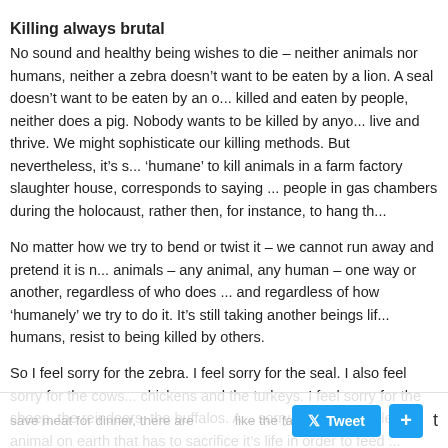Killing always brutal
No sound and healthy being wishes to die – neither animals nor humans, neither a zebra doesn’t want to be eaten by a lion. A seal doesn’t want to be eaten by an o... killed and eaten by people, neither does a pig. Nobody wants to be killed by anyo... live and thrive. We might sophisticate our killing methods. But nevertheless, it’s s... ‘humane’ to kill animals in a farm factory slaughter house, corresponds to saying ... people in gas chambers during the holocaust, rather then, for instance, to hang th...
No matter how we try to bend or twist it – we cannot run away and pretend it is n... animals – any animal, any human – one way or another, regardless of who does ... and regardless of how ‘humanely’ we try to do it. It’s still taking another beings lif... humans, resist to being killed by others.
So I feel sorry for the zebra. I feel sorry for the seal. I also feel sorry for the cows... chickens and the turkeys. I feel sorry for the sheep, the reindeers, the buffalos. A... sorry for every single animal on earth that has to sacrifice it’s life in order to feed ... humans. In my fantasies I wish that nobody had to kill any other being and that w... together and love each other. At the same time I know that this is an utterly impos...
A delusional world
The fact is that most people in the world eat meat, which means that people have...
save meat for dinner, there are ... ... like the fact som... really, I also have to accept th... ... of people wh...